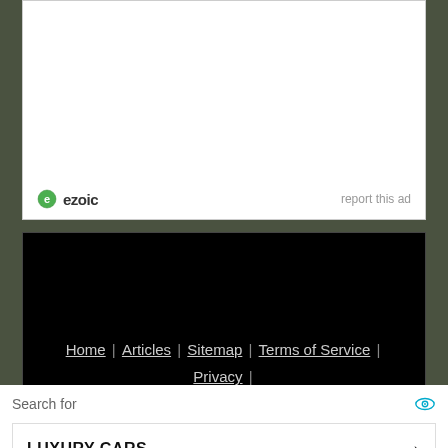[Figure (logo): Ezoic logo with green circular icon and 'ezoic' text, with 'report this ad' text on the right]
Home | Articles | Sitemap | Terms of Service | Privacy | Disclaimer | Advertise With Us
Copyright © 1996-2022 · Capital Professional Services, LLC · Maintained by Design Synergy Studio · Admin
Do Not Sell My Personal Information
[Figure (infographic): Bottom ad section with 'Search for' label, eye icon, two search items: LUXURY CARS and DISCOUNT SHOPPING with arrows, and small triangle icon at bottom right]